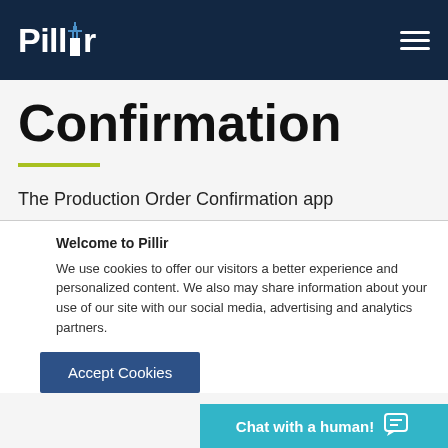Pillir
Confirmation
The Production Order Confirmation app
Welcome to Pillir
We use cookies to offer our visitors a better experience and personalized content. We also may share information about your use of our site with our social media, advertising and analytics partners.
Accept Cookies
Chat with a human!